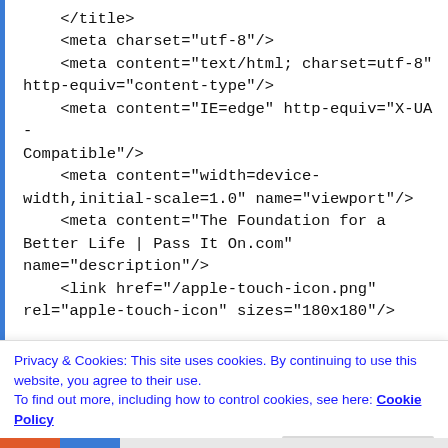</title>
    <meta charset="utf-8"/>
    <meta content="text/html; charset=utf-8" http-equiv="content-type"/>
    <meta content="IE=edge" http-equiv="X-UA-Compatible"/>
    <meta content="width=device-width,initial-scale=1.0" name="viewport"/>
    <meta content="The Foundation for a Better Life | Pass It On.com" name="description"/>
    <link href="/apple-touch-icon.png" rel="apple-touch-icon" sizes="180x180"/>
Privacy & Cookies: This site uses cookies. By continuing to use this website, you agree to their use.
To find out more, including how to control cookies, see here: Cookie Policy